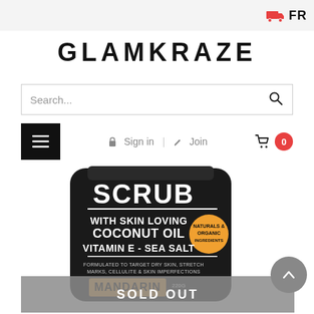FR
GLAMKRAZE
Search...
Sign in | Join
[Figure (photo): Product package: Scrub with Skin Loving Coconut Oil, Vitamin E - Sea Salt, Mandarin 220g. Naturals & Organic Ingredients badge. Black pouch with orange accent.]
SOLD OUT